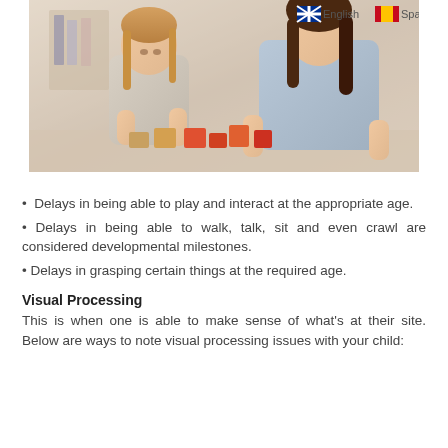[Figure (photo): A young blonde girl with braids and an adult woman (teacher/therapist) sitting together at a table playing with colorful wooden blocks. Language flags (English/Spanish) visible in top right corner of image.]
Delays in being able to play and interact at the appropriate age.
Delays in being able to walk, talk, sit and even crawl are considered developmental milestones.
Delays in grasping certain things at the required age.
Visual Processing
This is when one is able to make sense of what's at their site. Below are ways to note visual processing issues with your child: